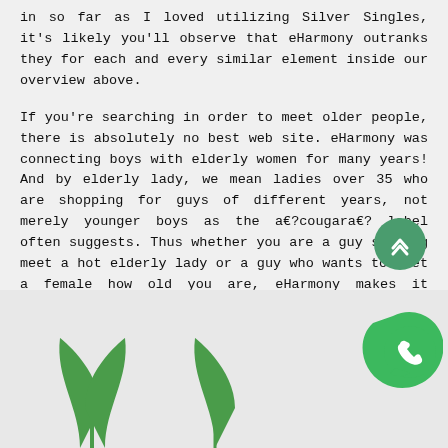in so far as I loved utilizing Silver Singles, it's likely you'll observe that eHarmony outranks they for each and every similar element inside our overview above.
If you're searching in order to meet older people, there is absolutely no best web site. eHarmony was connecting boys with elderly women for many years! And by elderly lady, we mean ladies over 35 who are shopping for guys of different years, not merely younger boys as the a€?cougara€? label often suggests. Thus whether you are a guy seeking meet a hot elderly lady or a guy who wants to meet a female how old you are, eHarmony makes it possible to out!
[Figure (illustration): Green leaf/plant logo elements at bottom of page, and a WhatsApp widget button (green blob shape with WhatsApp phone icon)]